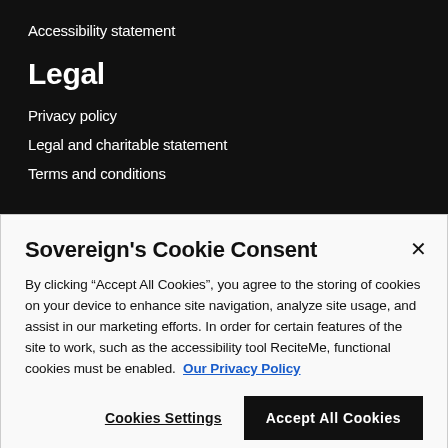Accessibility statement
Legal
Privacy policy
Legal and charitable statement
Terms and conditions
Sovereign's Cookie Consent
By clicking "Accept All Cookies", you agree to the storing of cookies on your device to enhance site navigation, analyze site usage, and assist in our marketing efforts. In order for certain features of the site to work, such as the accessibility tool ReciteMe, functional cookies must be enabled. Our Privacy Policy
Cookies Settings
Accept All Cookies